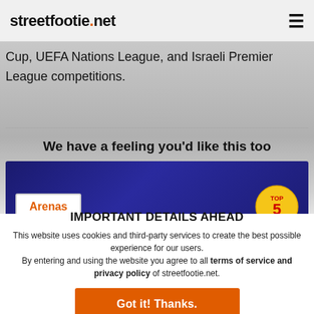streetfootie.net
Cup, UEFA Nations League, and Israeli Premier League competitions.
We have a feeling you'd like this too
[Figure (screenshot): Dark blue banner with 'Arenas' label button on the left and a 'TOP 5' circular badge on the right]
IMPORTANT DETAILS AHEAD
This website uses cookies and third-party services to create the best possible experience for our users. By entering and using the website you agree to all terms of service and privacy policy of streetfootie.net.
Got it! Thanks.